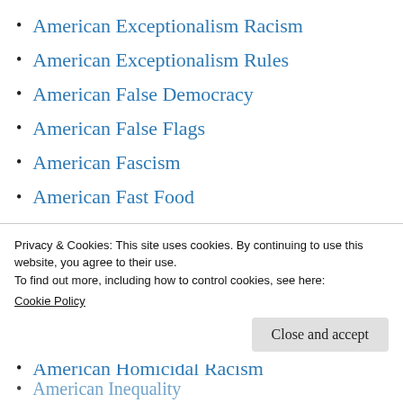American Exceptionalism Racism
American Exceptionalism Rules
American False Democracy
American False Flags
American Fascism
American Fast Food
American Flag Fetish
American Foreign Policy
American Freedom Gas
American Gun Sickos
American Homicidal Racism
Privacy & Cookies: This site uses cookies. By continuing to use this website, you agree to their use.
To find out more, including how to control cookies, see here: Cookie Policy
American Inequality